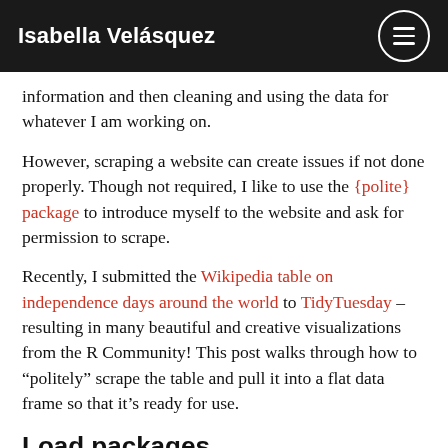Isabella Velásquez
information and then cleaning and using the data for whatever I am working on.
However, scraping a website can create issues if not done properly. Though not required, I like to use the {polite} package to introduce myself to the website and ask for permission to scrape.
Recently, I submitted the Wikipedia table on independence days around the world to TidyTuesday – resulting in many beautiful and creative visualizations from the R Community! This post walks through how to “politely” scrape the table and pull it into a flat data frame so that it’s ready for use.
Load packages